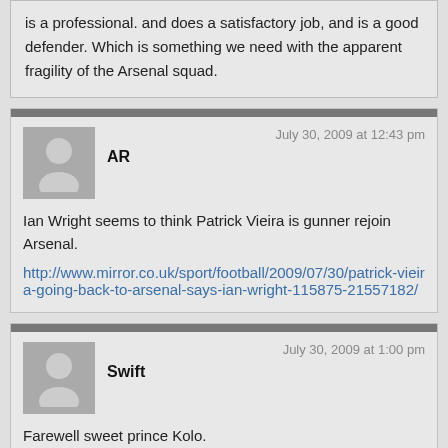is a professional. and does a satisfactory job, and is a good defender. Which is something we need with the apparent fragility of the Arsenal squad.
AR
July 30, 2009 at 12:43 pm
Ian Wright seems to think Patrick Vieira is gunner rejoin Arsenal.
http://www.mirror.co.uk/sport/football/2009/07/30/patrick-vieira-going-back-to-arsenal-says-ian-wright-115875-21557182/
Swift
July 30, 2009 at 1:00 pm
Farewell sweet prince Kolo.
Dally
July 30, 2009 at 4:09 pm